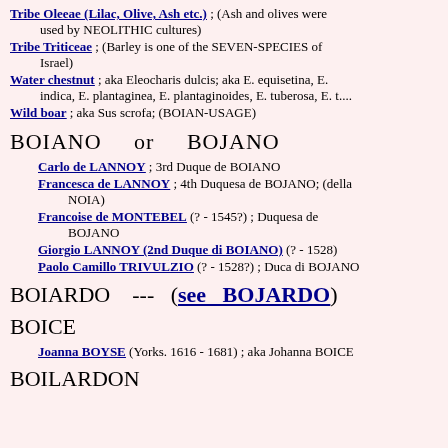Tribe Oleeae (Lilac, Olive, Ash etc.) ;  (Ash and olives were used by NEOLITHIC cultures)
Tribe Triticeae ;  (Barley is one of the SEVEN-SPECIES of Israel)
Water chestnut ;  aka Eleocharis dulcis; aka E. equisetina, E. indica, E. plantaginea, E. plantaginoides, E. tuberosa, E. t....
Wild boar ;  aka Sus scrofa; (BOIAN-USAGE)
BOIANO   or   BOJANO
Carlo de LANNOY ;  3rd Duque de BOIANO
Francesca de LANNOY ;  4th Duquesa de BOJANO; (della NOIA)
Francoise de MONTEBEL  (? - 1545?) ;  Duquesa de BOJANO
Giorgio LANNOY (2nd Duque di BOIANO)  (? - 1528)
Paolo Camillo TRIVULZIO  (? - 1528?) ;  Duca di BOJANO
BOIARDO   ---   (see  BOJARDO)
BOICE
Joanna BOYSE  (Yorks. 1616 - 1681) ;  aka Johanna BOICE
BOILARDON